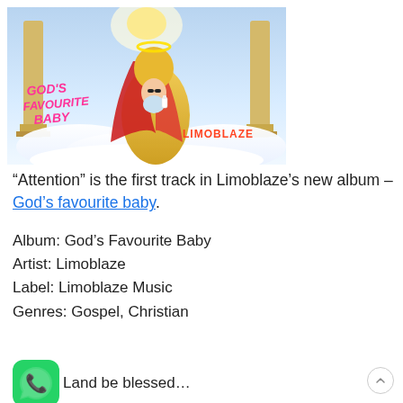[Figure (illustration): Album cover for 'God's Favourite Baby' by Limoblaze. Shows a cartoon baby figure wearing sunglasses and a red cape, held by a golden figure, set against a heavenly sky with columns and clouds. Pink handwritten-style text reads 'GOD'S FAVOURITE BABY' on the left, and 'LIMOBLAZE' in red block letters on the lower right.]
“Attention” is the first track in Limoblaze’s new album – God’s favourite baby.
Album: God’s Favourite Baby
Artist: Limoblaze
Label: Limoblaze Music
Genres: Gospel, Christian
[Figure (logo): WhatsApp green logo icon]
L and be blessed...